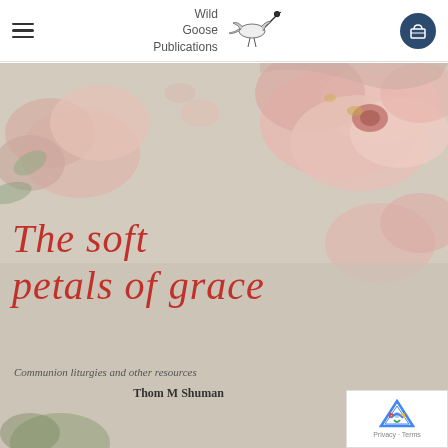Wild Goose Publications
[Figure (photo): Book cover of 'The soft petals of grace' by Thom M Shuman, published by Wild Goose Publications. Cover features pink roses/flowers on a light beige background with red handwritten-style title text and subtitle 'Communion liturgies and other resources'.]
The soft petals of grace
Communion liturgies and other resources
Thom M Shuman